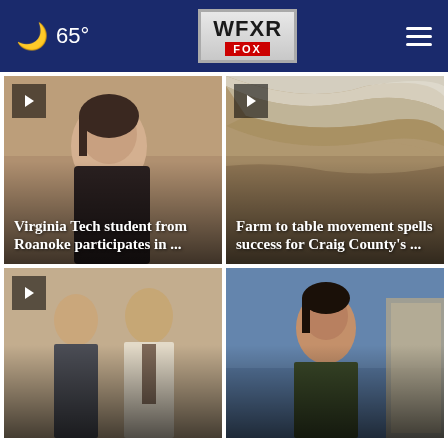65° WFXR FOX
[Figure (screenshot): News card with photo of smiling young woman, play button overlay]
Virginia Tech student from Roanoke participates in ...
[Figure (screenshot): News card with aerial photo of water and earth/mud, play button overlay]
Farm to table movement spells success for Craig County's ...
[Figure (screenshot): News card with photo of two men in suits, play button overlay]
[Figure (screenshot): News card with photo of a woman officer against blue sky]